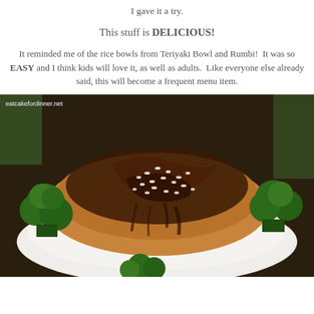I gave it a try.
This stuff is DELICIOUS!
It reminded me of the rice bowls from Teriyaki Bowl and Rumbi!  It was so EASY and I think kids will love it, as well as adults.  Like everyone else already said, this will become a frequent menu item.
[Figure (photo): A teriyaki chicken rice bowl with broccoli, shredded chicken topped with dark teriyaki sauce and sesame seeds, served on white rice on a dark plate. Watermark reads eatcakefordinner.net]